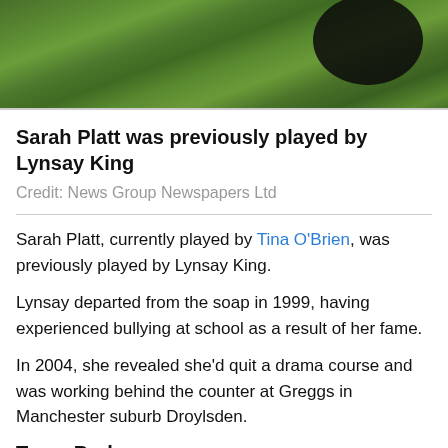[Figure (photo): Photo of grass with a dark animal shape visible, cropped at top]
Sarah Platt was previously played by Lynsay King
Credit: News Group Newspapers Ltd
Sarah Platt, currently played by Tina O'Brien, was previously played by Lynsay King.
Lynsay departed from the soap in 1999, having experienced bullying at school as a result of her fame.
In 2004, she revealed she’d quit a drama course and was working behind the counter at Greggs in Manchester suburb Droylsden.
Tracy Barlow